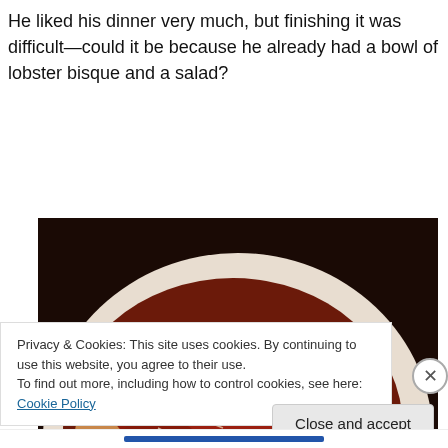He liked his dinner very much, but finishing it was difficult—could it be because he already had a bowl of lobster bisque and a salad?
[Figure (photo): A plate of spaghetti with tomato sauce and grated cheese, with a fork visible on the right side of the plate.]
Privacy & Cookies: This site uses cookies. By continuing to use this website, you agree to their use.
To find out more, including how to control cookies, see here: Cookie Policy
Close and accept